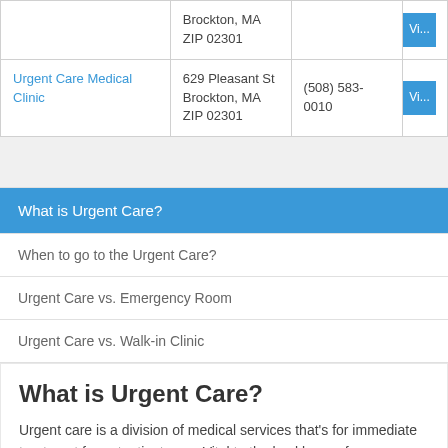| Name | Address | Phone |  |
| --- | --- | --- | --- |
|  | Brockton, MA ZIP 02301 |  | Vi... |
| Urgent Care Medical Clinic | 629 Pleasant St Brockton, MA ZIP 02301 | (508) 583-0010 | Vi... |
What is Urgent Care?
When to go to the Urgent Care?
Urgent Care vs. Emergency Room
Urgent Care vs. Walk-in Clinic
What is Urgent Care?
Urgent care is a division of medical services that's for immediate treatment for outpatient care. Vital to the backbone of our healthcare system, urgent care is not meant to replace the duties